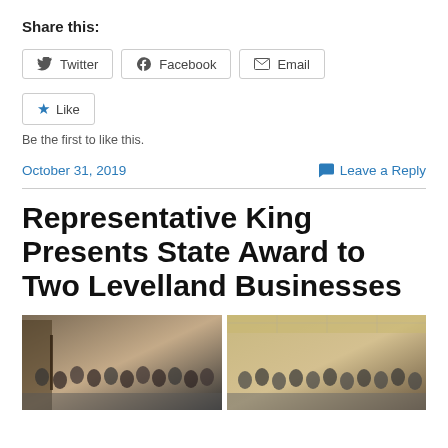Share this:
Twitter  Facebook  Email
Like
Be the first to like this.
October 31, 2019    Leave a Reply
Representative King Presents State Award to Two Levelland Businesses
[Figure (photo): Two group photos side by side showing people gathered indoors, related to the award presentation.]